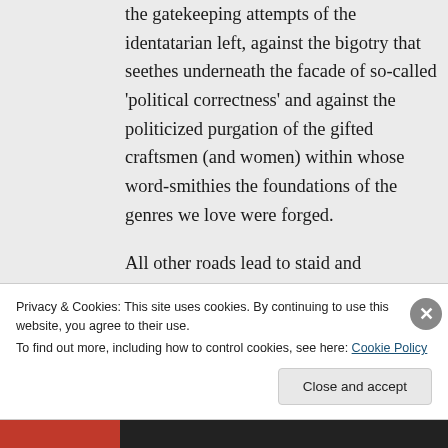the gatekeeping attempts of the identatarian left, against the bigotry that seethes underneath the facade of so-called 'political correctness' and against the politicized purgation of the gifted craftsmen (and women) within whose word-smithies the foundations of the genres we love were forged.

All other roads lead to staid and
Privacy & Cookies: This site uses cookies. By continuing to use this website, you agree to their use.
To find out more, including how to control cookies, see here: Cookie Policy